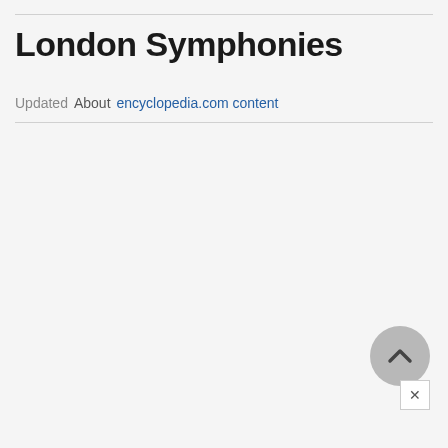London Symphonies
Updated   About encyclopedia.com content